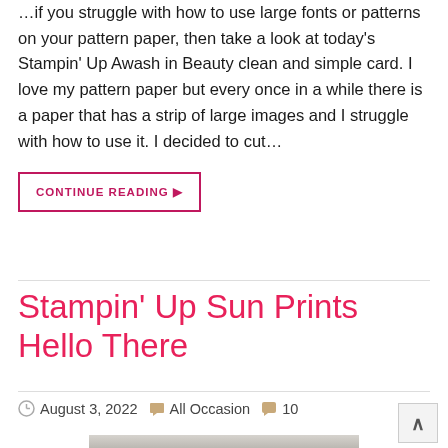…if you struggle with how to use large fonts or patterns on your pattern paper, then take a look at today's Stampin' Up Awash in Beauty clean and simple card. I love my pattern paper but every once in a while there is a paper that has a strip of large images and I struggle with how to use it. I decided to cut…
CONTINUE READING ▶
Stampin' Up Sun Prints Hello There
August 3, 2022   All Occasion   10
[Figure (photo): A handmade greeting card featuring navy blue floral botanical stamps on white cardstock with a navy blue border strip, layered on patterned background paper.]